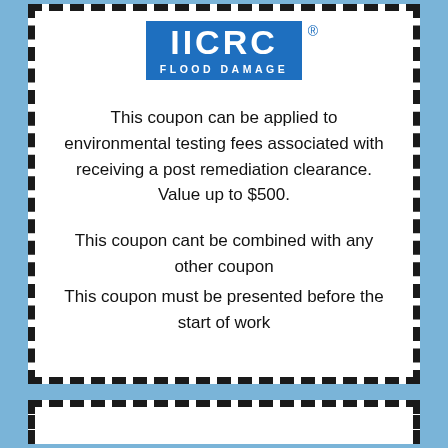[Figure (logo): IICRC Flood Damage logo in blue with registered trademark symbol]
This coupon can be applied to environmental testing fees associated with receiving a post remediation clearance. Value up to $500.
This coupon cant be combined with any other coupon
This coupon must be presented before the start of work